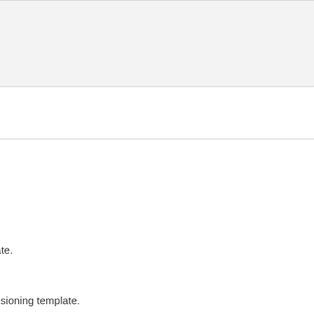[Figure (other): A light gray rounded rectangle box, likely a UI input or content area placeholder]
late.
visioning template.